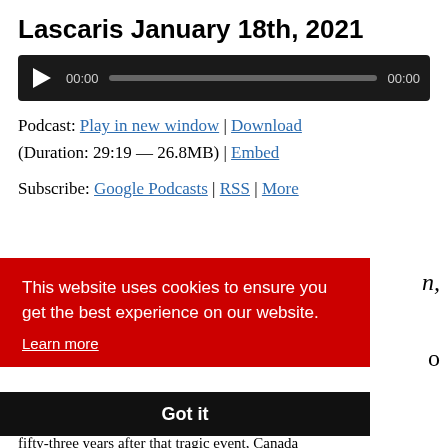Lascaris January 18th, 2021
[Figure (other): Audio player with play button, time display 00:00, progress bar, and end time 00:00 on dark background]
Podcast: Play in new window | Download (Duration: 29:19 — 26.8MB) | Embed
Subscribe: Google Podcasts | RSS | More
This website uses cookies to ensure you get the best experience on our website. Learn more
Got it
fifty-three years after that tragic event, Canada